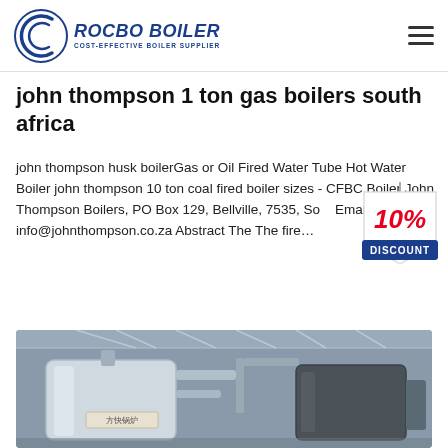[Figure (logo): Rocbo Boiler logo with circular emblem and text 'ROCBO BOILER COST-EFFECTIVE BOILER SUPPLIER']
john thompson 1 ton gas boilers south africa
john thompson husk boilerGas or Oil Fired Water Tube Hot Water Boiler john thompson 10 ton coal fired boiler sizes - CFBC Boiler John Thompson Boilers, PO Box 129, Bellville, 7535, So... Email: info@johnthompson.co.za Abstract The The fire...
[Figure (illustration): 10% DISCOUNT badge/sticker in red and blue]
[Figure (photo): Industrial boiler equipment inside a factory building]
Get Price